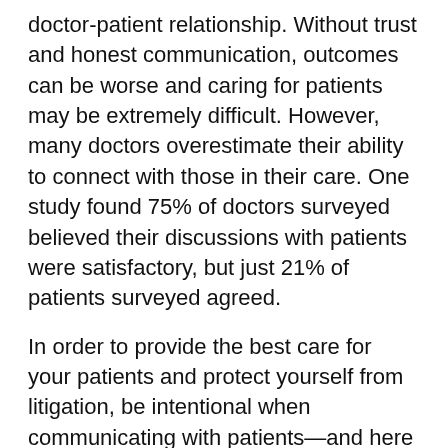doctor-patient relationship. Without trust and honest communication, outcomes can be worse and caring for patients may be extremely difficult. However, many doctors overestimate their ability to connect with those in their care. One study found 75% of doctors surveyed believed their discussions with patients were satisfactory, but just 21% of patients surveyed agreed.
In order to provide the best care for your patients and protect yourself from litigation, be intentional when communicating with patients—and here are a few statements to try to stay away from.
"I don't know." Although you might mean that medical science has yet to find an